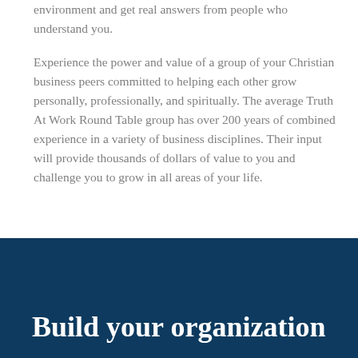environment and get real answers from people who understand you.
Experience the power and value of a group of your Christian business peers committed to helping each other grow personally, professionally, and spiritually. The average Truth At Work Round Table group has over 200 years of combined experience in a variety of business disciplines. Their input will provide thousands of dollars of value to you and challenge you to grow in all areas of your life.
[Figure (photo): Dark blue overlay photo of people in a business meeting setting]
Build your organization